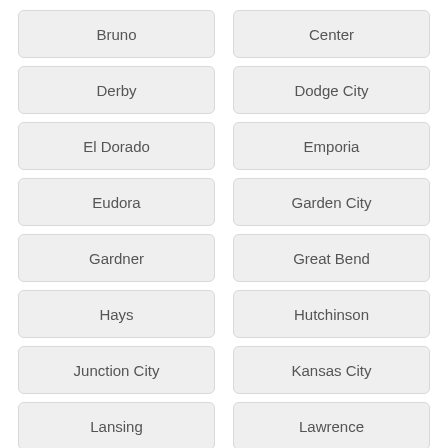Bruno
Center
Derby
Dodge City
El Dorado
Emporia
Eudora
Garden City
Gardner
Great Bend
Hays
Hutchinson
Junction City
Kansas City
Lansing
Lawrence
Leavenworth
Leawood